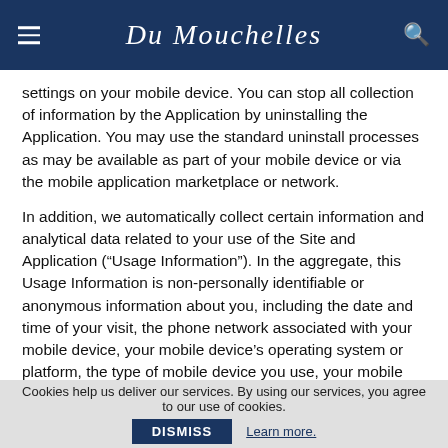DuMouchelles (logo header with hamburger menu and search icon)
settings on your mobile device. You can stop all collection of information by the Application by uninstalling the Application. You may use the standard uninstall processes as may be available as part of your mobile device or via the mobile application marketplace or network.
In addition, we automatically collect certain information and analytical data related to your use of the Site and Application (“Usage Information”). In the aggregate, this Usage Information is non-personally identifiable or anonymous information about you, including the date and time of your visit, the phone network associated with your mobile device, your mobile device’s operating system or platform, the type of mobile device you use, your mobile device’s unique device ID, location and the features of our Application you accessed (collectively “Aggregate Information”). This Aggregate Information is in no way associated with your Personal Data. Usage Information is necessary for the operation and
Cookies help us deliver our services. By using our services, you agree to our use of cookies. DISMISS Learn more.